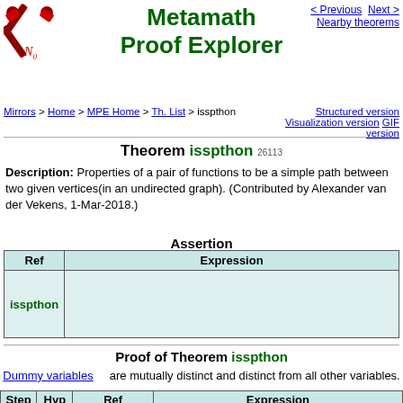[Figure (logo): Metamath logo — crossed hammer and wrench with subscript 0]
Metamath Proof Explorer
< Previous  Next >  Nearby theorems
Mirrors > Home > MPE Home > Th. List > isspthon | Structured version  Visualization version  GIF version
Theorem isspthon 26113
Description: Properties of a pair of functions to be a simple path between two given vertices(in an undirected graph). (Contributed by Alexander van der Vekens, 1-Mar-2018.)
Assertion
| Ref | Expression |
| --- | --- |
| isspthon |  |
Proof of Theorem isspthon
Dummy variables    are mutually distinct and distinct from all other variables.
| Step | Hyp | Ref | Expression |
| --- | --- | --- | --- |
| 1 |  | th... | ...4 |